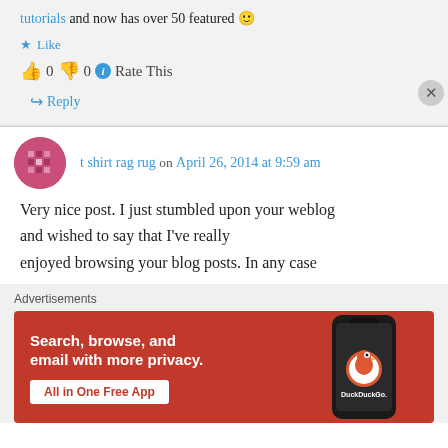tutorials and now has over 50 featured 🙂
★ Like
👍 0 👎 0 ℹ Rate This
↪ Reply
t shirt rag rug on April 26, 2014 at 9:59 am
Very nice post. I just stumbled upon your weblog and wished to say that I've really enjoyed browsing your blog posts. In any case
Advertisements
[Figure (screenshot): DuckDuckGo advertisement banner: 'Search, browse, and email with more privacy. All in One Free App' with phone mockup showing DuckDuckGo logo]